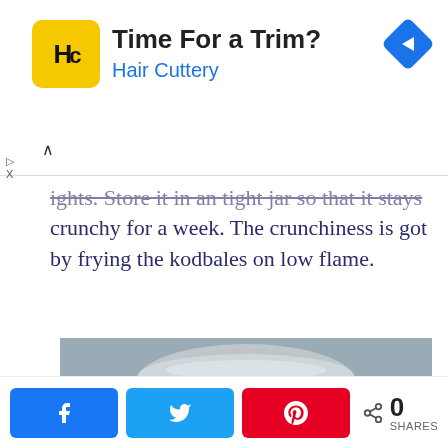[Figure (screenshot): Advertisement banner for Hair Cuttery with yellow logo, bold text 'Time For a Trim?' and blue 'Hair Cuttery' subtitle, with blue arrow diamond icon on right]
ghts. Store it in an tight jar so that it stays crunchy for a week. The crunchiness is got by frying the kodbales on low flame.
[Figure (photo): Photo of ring-shaped snacks (kodbales) in a glass jar with metal clasp lid]
[Figure (screenshot): Social share bar with Facebook, Twitter, and Pinterest buttons and 0 shares count]